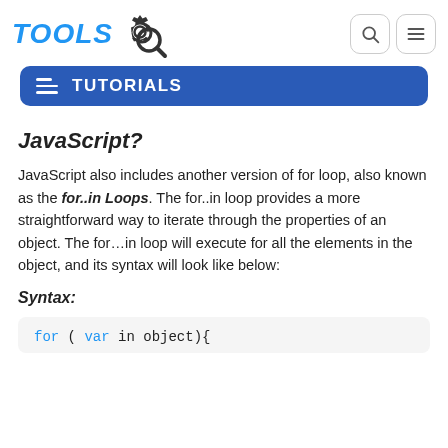TOOLS  [gear/search icon]  [search button] [menu button]
TUTORIALS
JavaScript?
JavaScript also includes another version of for loop, also known as the for..in Loops. The for..in loop provides a more straightforward way to iterate through the properties of an object. The for...in loop will execute for all the elements in the object, and its syntax will look like below:
Syntax:
for ( var in object){